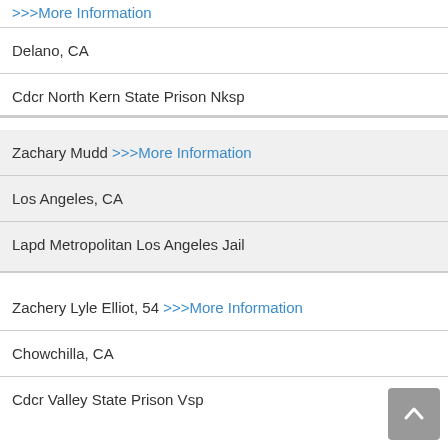>>>More Information
Delano, CA
Cdcr North Kern State Prison Nksp
Zachary Mudd >>>More Information
Los Angeles, CA
Lapd Metropolitan Los Angeles Jail
Zachery Lyle Elliot, 54 >>>More Information
Chowchilla, CA
Cdcr Valley State Prison Vsp